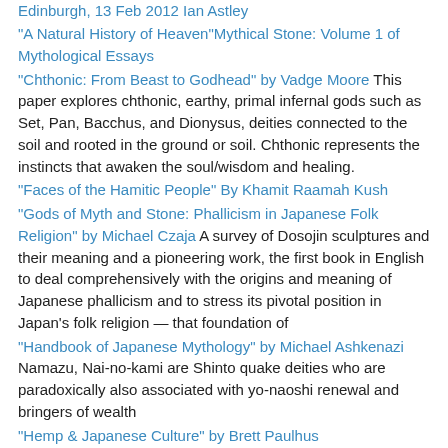Edinburgh, 13 Feb 2012 Ian Astley
"A Natural History of Heaven"Mythical Stone: Volume 1 of Mythological Essays
"Chthonic: From Beast to Godhead" by Vadge Moore This paper explores chthonic, earthy, primal infernal gods such as Set, Pan, Bacchus, and Dionysus, deities connected to the soil and rooted in the ground or soil. Chthonic represents the instincts that awaken the soul/wisdom and healing.
"Faces of the Hamitic People" By Khamit Raamah Kush
"Gods of Myth and Stone: Phallicism in Japanese Folk Religion" by Michael Czaja A survey of Dosojin sculptures and their meaning and a pioneering work, the first book in English to deal comprehensively with the origins and meaning of Japanese phallicism and to stress its pivotal position in Japan's folk religion — that foundation of
"Handbook of Japanese Mythology" by Michael Ashkenazi Namazu, Nai-no-kami are Shinto quake deities who are paradoxically also associated with yo-naoshi renewal and bringers of wealth
"Hemp & Japanese Culture" by Brett Paulhus
"Japanese Fairy Tales" by Yei Theodora Ozaki
"Japanese Religions", publications